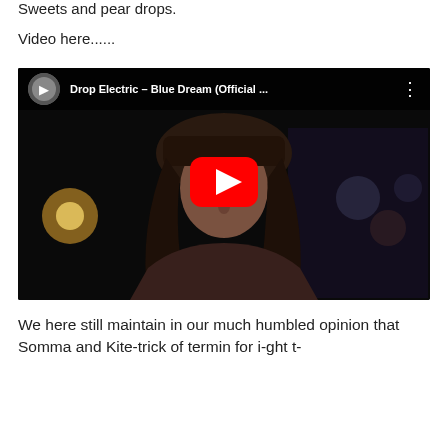Sweets and pear drops.
Video here......
[Figure (screenshot): Embedded YouTube video thumbnail showing 'Drop Electric - Blue Dream (Official ...' with a woman with long dark hair in a dark nighttime city scene. A red YouTube play button is centered on the video.]
We here still maintain in our much humbled opinion that
Somma and Kite-trick of termin for i-ght t-